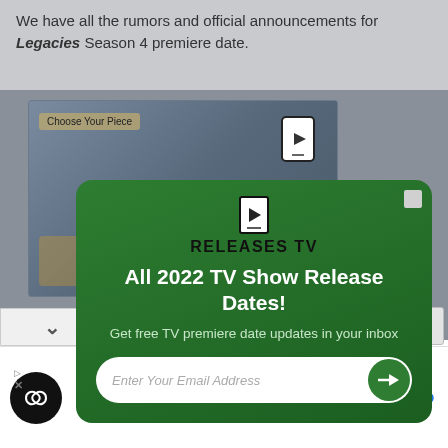We have all the rumors and official announcements for Legacies Season 4 premiere date.
[Figure (screenshot): Advertisement image area with decorative background, showing 'Choose Your Piece' button overlay]
[Figure (screenshot): Popup modal from ReleasesTV: 'All 2022 TV Show Release Dates! Get free TV premiere date updates in your inbox' with email input field and arrow submit button]
[Figure (screenshot): Bottom advertisement bar showing a black circular icon with infinity-like logo, checkmark, 'In-store shopping' text, and blue navigation diamond icon]